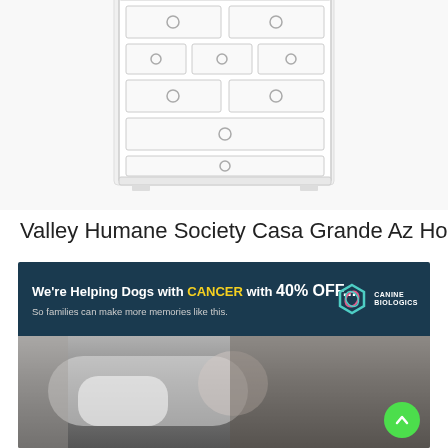[Figure (illustration): Partial view of a white chest of drawers / dresser with multiple drawers and circular ring pulls, shown at an angle on a white background. Only the upper and middle portions of the dresser are visible.]
Valley Humane Society Casa Grande Az Home
[Figure (infographic): Advertisement banner with dark blue/navy background. Text reads: "We're Helping Dogs with CANCER with 40% OFF... So families can make more memories like this." Canine Biologics logo (hexagon shape in teal/pink) appears on the right side. Below the banner is a black-and-white photo of a sleeping baby in a diaper lying next to a dog on a sofa. A green circular back-to-top arrow button appears in the bottom-right corner.]